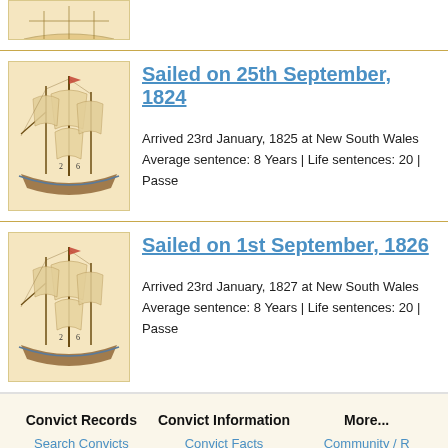[Figure (illustration): Partial ship illustration at top (cropped), sepia-toned sailing ship]
Sailed on 25th September, 1824
Arrived 23rd January, 1825 at New South Wales
Average sentence: 8 Years | Life sentences: 20 | Passe...
[Figure (illustration): Sepia-toned illustration of a tall sailing ship]
Sailed on 1st September, 1826
Arrived 23rd January, 1827 at New South Wales
Average sentence: 8 Years | Life sentences: 20 | Passe...
Convict Records | Search Convicts | Browse Convicts | About This Website | Convict Information | Convict Facts | Resources | More... | Community /...